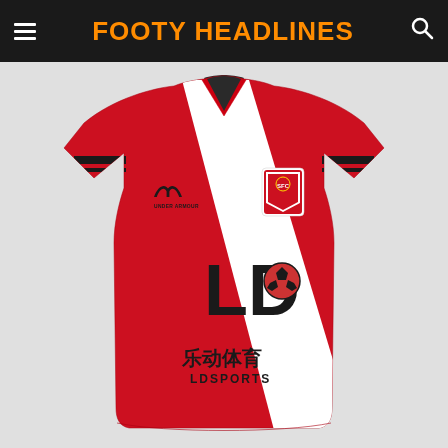FOOTY HEADLINES
[Figure (photo): Southampton FC red and white diagonal sash home football shirt with Under Armour logo, Southampton FC badge, and LD Sports (乐动体育) sponsor on the front. The jersey is predominantly red with a wide white diagonal stripe running from left shoulder to bottom right, black trim on sleeve cuffs, and a V-neck collar with dark grey/black color.]